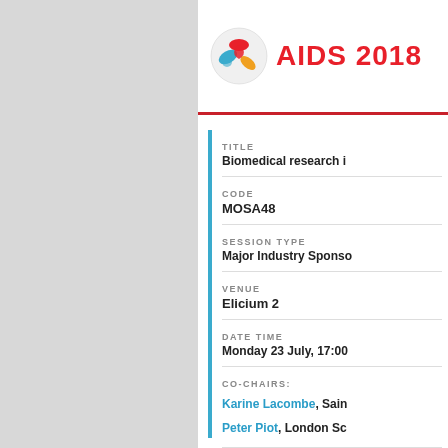[Figure (logo): AIDS 2018 conference logo — circular emblem with red/blue/yellow petals and ribbon, followed by red bold text AIDS 2018]
TITLE
Biomedical research i
CODE
MOSA48
SESSION TYPE
Major Industry Sponso
VENUE
Elicium 2
DATE TIME
Monday 23 July, 17:00
CO-CHAIRS:
Karine Lacombe, Sain
Peter Piot, London Sc
ORGANIZER:
Johnson & Johnson